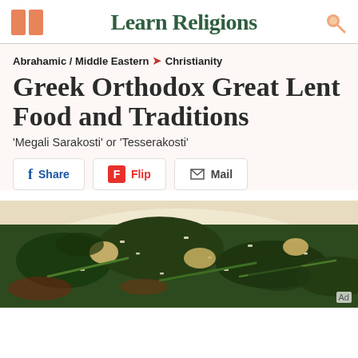Learn Religions
Abrahamic / Middle Eastern > Christianity
Greek Orthodox Great Lent Food and Traditions
'Megali Sarakosti' or 'Tesserakosti'
Share | Flip | Mail
[Figure (photo): A bowl of dark leafy greens (possibly spinach or chard) cooked with rice, green beans, and potatoes in a broth, a typical Greek Orthodox Lenten dish.]